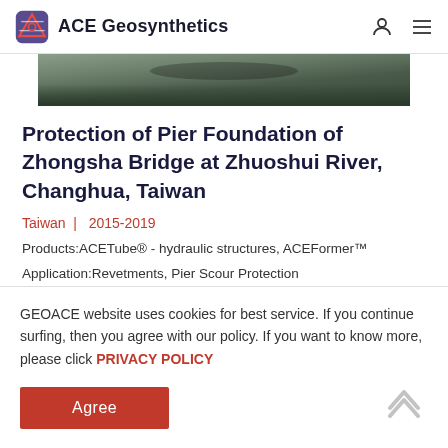ACE Geosynthetics
[Figure (photo): Partial view of a construction/engineering site photo showing dark geosynthetic materials on ground]
Protection of Pier Foundation of Zhongsha Bridge at Zhuoshui River, Changhua, Taiwan
Taiwan | 2015-2019
Products:ACETube® - hydraulic structures, ACEFormer™
Application:Revetments, Pier Scour Protection
GEOACE website uses cookies for best service. If you continue surfing, then you agree with our policy. If you want to know more, please click PRIVACY POLICY